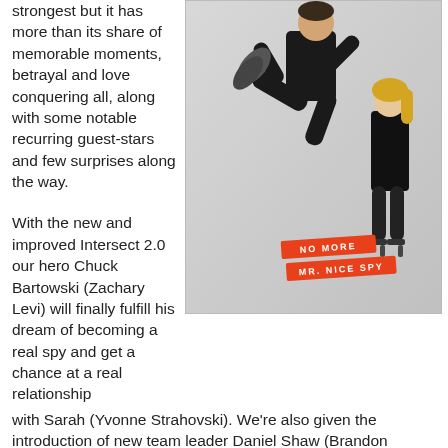strongest but it has more than its share of memorable moments, betrayal and love conquering all, along with some notable recurring guest-stars and few surprises along the way.
[Figure (photo): Promotional photo for a spy TV show featuring a man in a black suit jumping/kicking and a woman in a black dress posing. Text badges read 'NO MORE MR. NICE SPY'.]
With the new and improved Intersect 2.0 our hero Chuck Bartowski (Zachary Levi) will finally fulfill his dream of becoming a real spy and get a chance at a real relationship with Sarah (Yvonne Strahovski). We're also given the introduction of new team leader Daniel Shaw (Brandon Routh), the lovely Hannah (Kristin Kreuk – that's right this season has Clark Kent and Lana Lang), Casey (Adam Baldwin) tries his hand at civilian life and discovers he has a daughter (Mekenna Melvin), and Morgan Grimes (Joshua Gomez) becomes a spy (no, really!).